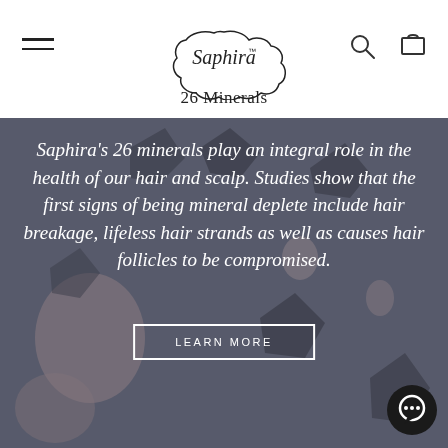[Figure (logo): Saphira brand logo inside a cloud/blob shape outline]
26 Minerals
[Figure (photo): Dark moody background photo of scattered minerals/crystals/gemstones on a grayish-purple surface, with white italic text overlay reading: Saphira's 26 minerals play an integral role in the health of our hair and scalp. Studies show that the first signs of being mineral deplete include hair breakage, lifeless hair strands as well as causes hair follicles to be compromised. A 'LEARN MORE' button with a white border is below the text.]